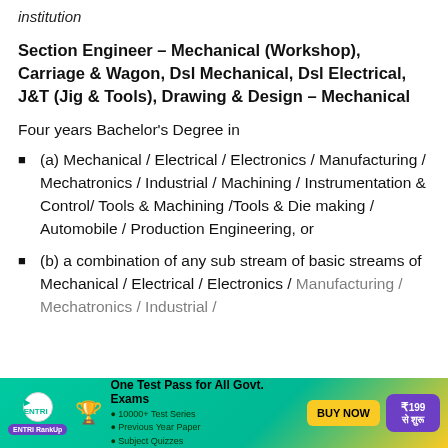institution
Section Engineer – Mechanical (Workshop), Carriage & Wagon, Dsl Mechanical, Dsl Electrical, J&T (Jig & Tools), Drawing & Design – Mechanical
Four years Bachelor's Degree in
(a) Mechanical / Electrical / Electronics / Manufacturing / Mechatronics / Industrial / Machining / Instrumentation & Control/ Tools & Machining /Tools & Die making / Automobile / Production Engineering, or
(b) a combination of any sub stream of basic streams of Mechanical / Electrical / Electronics / Manufacturing / Mechatronics / Industrial /
[Figure (infographic): ENTRI RankUp advertisement banner: One Test Pass for All Govt. Exams, 10000+ Test Series, Previous Year Paper, Subject Quizzes, BUY NOW, ₹199 से शुरू]